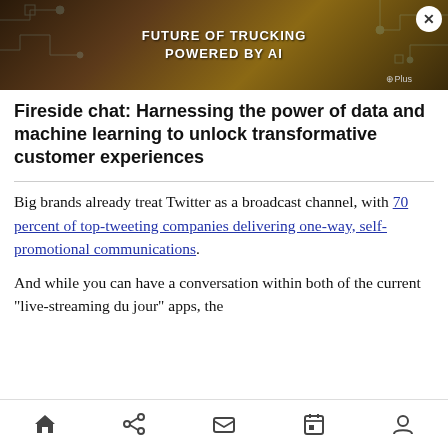[Figure (photo): Advertisement banner: truck on mountain road with text 'FUTURE OF TRUCKING POWERED BY AI' and brand logo 'Plus' with circuit board overlay graphics]
Fireside chat: Harnessing the power of data and machine learning to unlock transformative customer experiences
Big brands already treat Twitter as a broadcast channel, with 70 percent of top-tweeting companies delivering one-way, self-promotional communications.
And while you can have a conversation within both of the current “live-streaming du jour” apps, the
Home Share Mail Calendar Profile